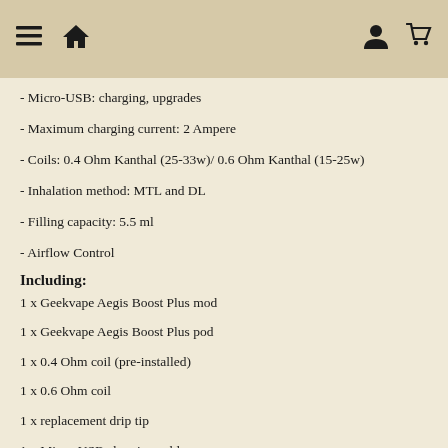≡  🏠  [user icon]  [cart icon]
- Micro-USB: charging, upgrades
- Maximum charging current: 2 Ampere
- Coils: 0.4 Ohm Kanthal (25-33w)/ 0.6 Ohm Kanthal (15-25w)
- Inhalation method: MTL and DL
- Filling capacity: 5.5 ml
- Airflow Control
Including:
1 x Geekvape Aegis Boost Plus mod
1 x Geekvape Aegis Boost Plus pod
1 x 0.4 Ohm coil (pre-installed)
1 x 0.6 Ohm coil
1 x replacement drip tip
1 x Micro-USB charging cable
1 x manual
Safety notices
GHS07: Exclamation mark
Warning. Harmful if swallowed